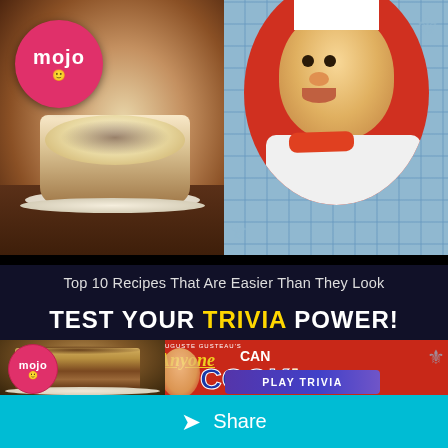[Figure (photo): Split image: left side shows a cappuccino/latte with foam and cocoa powder dusting with Mojo logo overlay; right side shows animated chef character (Gusteau from Ratatouille) on red background with blue checkered pattern]
Top 10 Recipes That Are Easier Than They Look
TEST YOUR TRIVIA POWER!
[Figure (screenshot): Video thumbnail showing tiramisu dessert on left with Mojo logo, and Gusteau's 'Anyone Can Cook!' book cover on right. Play Trivia button overlaid at bottom.]
PLAY TRIVIA
Share